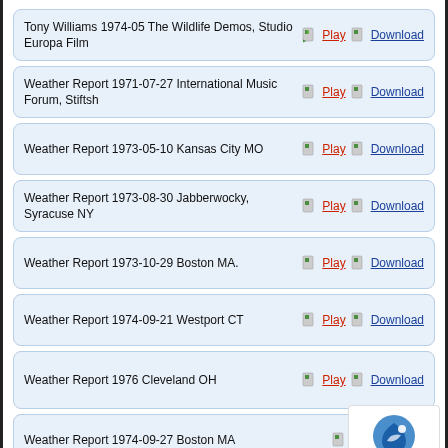Tony Williams 1974-05 The Wildlife Demos, Studio Europa Film — Play | Download
Weather Report 1971-07-27 International Music Forum, Stiftsh — Play | Download
Weather Report 1973-05-10 Kansas City MO — Play | Download
Weather Report 1973-08-30 Jabberwocky, Syracuse NY — Play | Download
Weather Report 1973-10-29 Boston MA. — Play | Download
Weather Report 1974-09-21 Westport CT — Play | Download
Weather Report 1976 Cleveland OH — Play | Download
Weather Report 1974-09-27 Boston MA — Play | Download